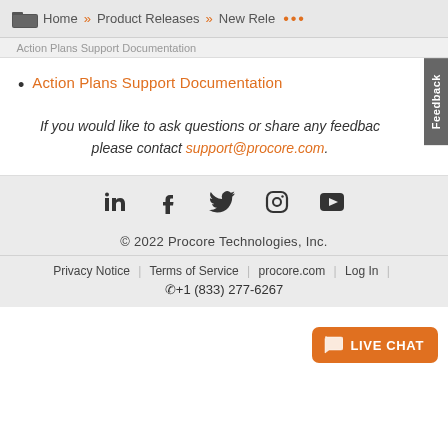Home » Product Releases » New Rele ...
Action Plans Support Documentation (breadcrumb sub)
Action Plans Support Documentation
If you would like to ask questions or share any feedback, please contact support@procore.com.
[Figure (other): Social media icons: LinkedIn, Facebook, Twitter, Instagram, YouTube]
© 2022 Procore Technologies, Inc.
Privacy Notice | Terms of Service | procore.com | Log In | ✆+1 (833) 277-6267
[Figure (other): Live Chat button with speech bubble icon]